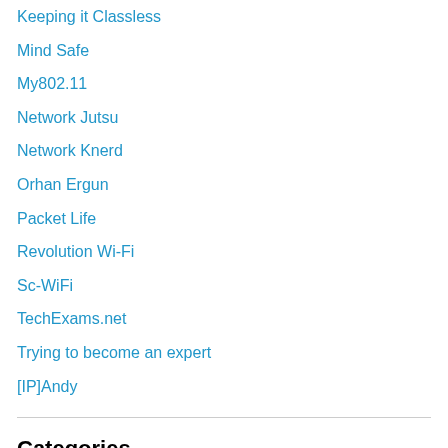Keeping it Classless
Mind Safe
My802.11
Network Jutsu
Network Knerd
Orhan Ergun
Packet Life
Revolution Wi-Fi
Sc-WiFi
TechExams.net
Trying to become an expert
[IP]Andy
Categories
ASA
Azure
BGP
BigIP F5
CCIF